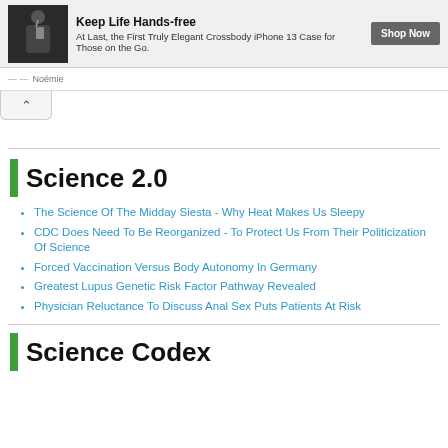[Figure (photo): Advertisement banner with a woman wearing a crossbody iPhone case, with text 'Keep Life Hands-free' and 'At Last, the First Truly Elegant Crossbody iPhone 13 Case for Those on the Go.' and a 'Shop Now' button. Brand name Noémie shown below.]
Science 2.0
The Science Of The Midday Siesta - Why Heat Makes Us Sleepy
CDC Does Need To Be Reorganized - To Protect Us From Their Politicization Of Science
Forced Vaccination Versus Body Autonomy In Germany
Greatest Lupus Genetic Risk Factor Pathway Revealed
Physician Reluctance To Discuss Anal Sex Puts Patients At Risk
Science Codex